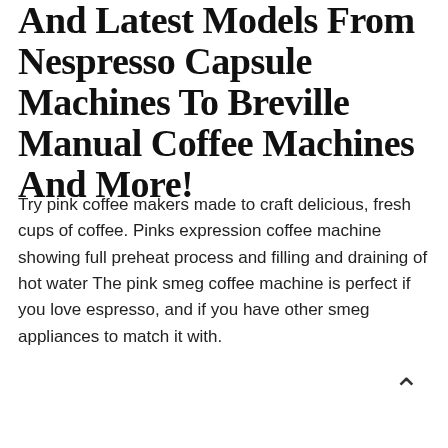And Latest Models From Nespresso Capsule Machines To Breville Manual Coffee Machines And More!
Try pink coffee makers made to craft delicious, fresh cups of coffee. Pinks expression coffee machine showing full preheat process and filling and draining of hot water The pink smeg coffee machine is perfect if you love espresso, and if you have other smeg appliances to match it with.